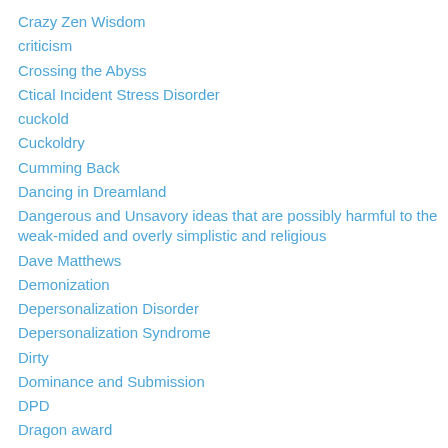Crazy Zen Wisdom
criticism
Crossing the Abyss
Ctical Incident Stress Disorder
cuckold
Cuckoldry
Cumming Back
Dancing in Dreamland
Dangerous and Unsavory ideas that are possibly harmful to the weak-mided and overly simplistic and religious
Dave Matthews
Demonization
Depersonalization Disorder
Depersonalization Syndrome
Dirty
Dominance and Submission
DPD
Dragon award
Dream Theater or Jeff Beck
Drug Experiences